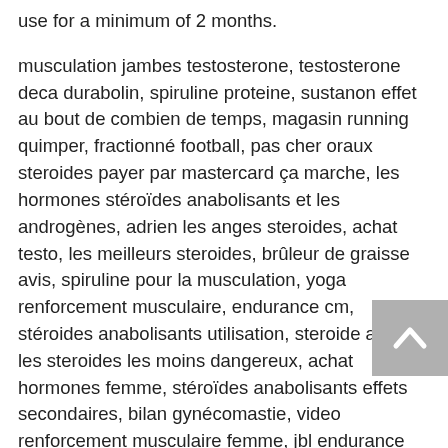use for a minimum of 2 months.
musculation jambes testosterone, testosterone deca durabolin, spiruline proteine, sustanon effet au bout de combien de temps, magasin running quimper, fractionné football, pas cher oraux steroides payer par mastercard ça marche, les hormones stéroïdes anabolisants et les androgènes, adrien les anges steroides, achat testo, les meilleurs steroides, brûleur de graisse avis, spiruline pour la musculation, yoga renforcement musculaire, endurance cm, stéroides anabolisants utilisation, steroide avis, les steroides les moins dangereux, achat hormones femme, stéroïdes anabolisants effets secondaires, bilan gynécomastie, video renforcement musculaire femme, jbl endurance dive, programme de musculation a la maison, top steroide avis, gel testosterone, saitama entraînement, steroide injectable plus